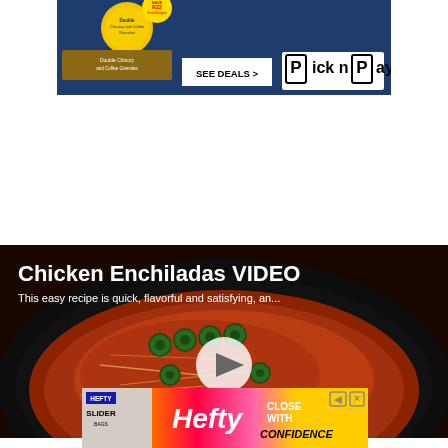[Figure (screenshot): Pick n Pay advertisement banner with 'SEE DEALS >' button and Pick n Pay logo on dark blue background with product packaging showing chicory and coffee granules and SAVER22 badge]
[Figure (screenshot): Video thumbnail for 'Chicken Enchiladas VIDEO' showing a cast iron skillet with enchiladas topped with shredded cheese and sliced jalapenos, with a white play button overlay. Title text reads 'Chicken Enchiladas VIDEO' and subtitle 'This easy recipe is quick, flavorful and satisfying, an...']
[Figure (screenshot): Hefty Slider bag advertisement banner with 'CLOSE WITH CONFIDENCE' text, Hefty logo, and colorful background]